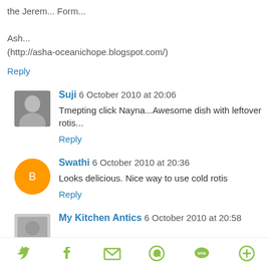the Jerem... Form...

Ash...
(http://asha-oceanichope.blogspot.com/)
Reply
Suji 6 October 2010 at 20:06
Tmepting click Nayna...Awesome dish with leftover rotis...
Reply
Swathi 6 October 2010 at 20:36
Looks delicious. Nice way to use cold rotis
Reply
My Kitchen Antics 6 October 2010 at 20:58
[Figure (infographic): Footer social sharing icons: Twitter, Facebook, Email, WhatsApp, SMS, More]